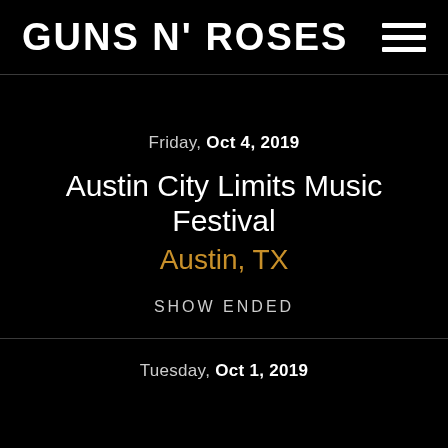GUNS N' ROSES
Friday, Oct 4, 2019
Austin City Limits Music Festival
Austin, TX
SHOW ENDED
Tuesday, Oct 1, 2019